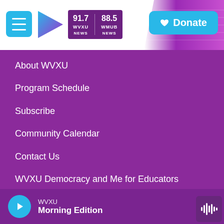WVXU 91.7 NEWS | 88.5 WMUB NEWS | Donate
About WVXU
Program Schedule
Subscribe
Community Calendar
Contact Us
WVXU Democracy and Me for Educators
Privacy Policy and Terms of Use
FCC Public Inspection File: 88.5 WMUB
WVXU Morning Edition